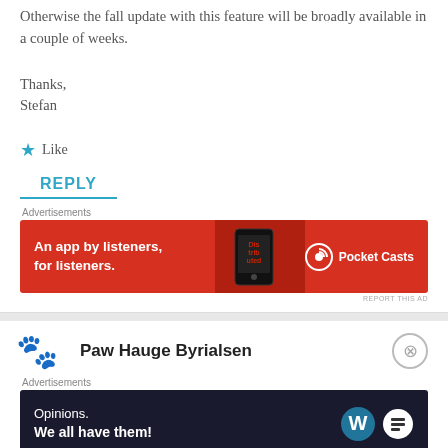Otherwise the fall update with this feature will be broadly available in a couple of weeks.
Thanks,
Stefan
★ Like
REPLY
[Figure (other): Red advertisement banner: An app by listeners, for listeners. Pocket Casts logo with phone graphic.]
REPORT THIS AD
Paw Hauge Byrialsen
[Figure (other): Dark advertisement banner: Opinions. We all have them! WordPress logo icons.]
REPORT THIS AD